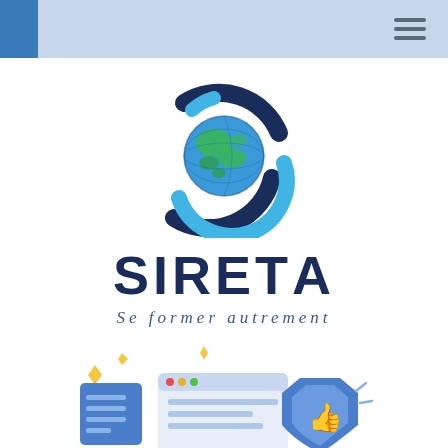[Figure (logo): SIRETA logo: a globe (Earth with blue oceans and green continents) surrounded by dark navy and light blue curved arrow shapes forming a circular orbit. Below the globe graphic is the company name SIRETA in bold dark navy letters, followed by the italic tagline 'Se former autrement'.]
[Figure (illustration): Bottom illustration showing digital/online learning icons: a server/document stack, a computer monitor with browser window showing colored dots, and a blue shield with a thumbs-up icon. Yellow sparkle/diamond shapes decorate the background.]